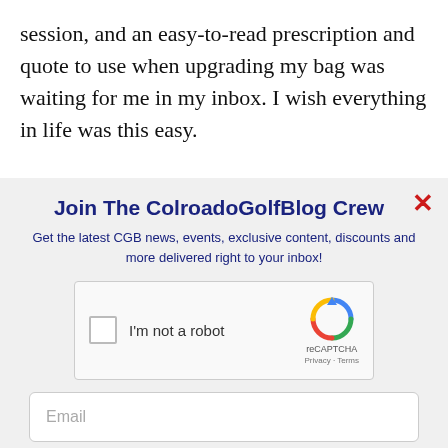session, and an easy-to-read prescription and quote to use when upgrading my bag was waiting for me in my inbox. I wish everything in life was this easy.

All club fitters are not created equal. It was an
Join The ColroadoGolfBlog Crew
Get the latest CGB news, events, exclusive content, discounts and more delivered right to your inbox!
[Figure (screenshot): reCAPTCHA widget with checkbox labeled 'I'm not a robot' and reCAPTCHA logo with Privacy - Terms links]
Email
SUBSCRIBE